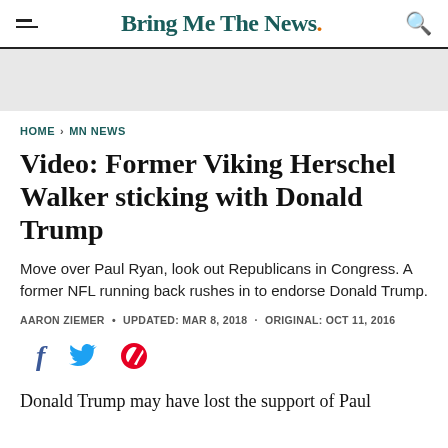Bring Me The News.
HOME > MN NEWS
Video: Former Viking Herschel Walker sticking with Donald Trump
Move over Paul Ryan, look out Republicans in Congress. A former NFL running back rushes in to endorse Donald Trump.
AARON ZIEMER • UPDATED: MAR 8, 2018 · ORIGINAL: OCT 11, 2016
Social share icons: Facebook, Twitter, Pinterest
Donald Trump may have lost the support of Paul